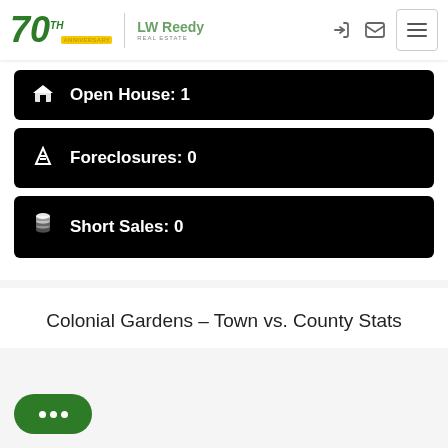LW Reedy Real Estate – 70th Anniversary
Open House: 1
Foreclosures: 0
Short Sales: 0
Colonial Gardens – Town vs. County Stats